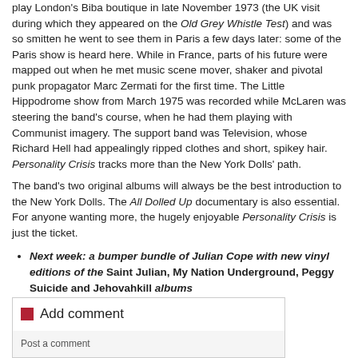play London's Biba boutique in late November 1973 (the UK visit during which they appeared on the Old Grey Whistle Test) and was so smitten he went to see them in Paris a few days later: some of the Paris show is heard here. While in France, parts of his future were mapped out when he met music scene mover, shaker and pivotal punk propagator Marc Zermati for the first time. The Little Hippodrome show from March 1975 was recorded while McLaren was steering the band's course, when he had them playing with Communist imagery. The support band was Television, whose Richard Hell had appealingly ripped clothes and short, spikey hair. Personality Crisis tracks more than the New York Dolls' path.
The band's two original albums will always be the best introduction to the New York Dolls. The All Dolled Up documentary is also essential. For anyone wanting more, the hugely enjoyable Personality Crisis is just the ticket.
Next week: a bumper bundle of Julian Cope with new vinyl editions of the Saint Julian, My Nation Underground, Peggy Suicide and Jehovahkill albums
Read more reissue reviews on theartsdesk
Add comment
Post a comment